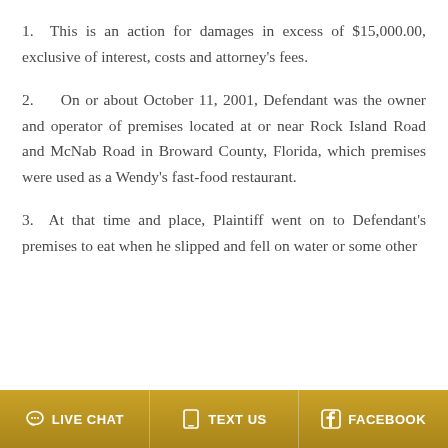1.  This is an action for damages in excess of $15,000.00, exclusive of interest, costs and attorney's fees.
2.    On or about October 11, 2001, Defendant was the owner and operator of premises located at or near Rock Island Road and McNab Road in Broward County, Florida, which premises were used as a Wendy's fast-food restaurant.
3.  At that time and place, Plaintiff went on to Defendant's premises to eat when he slipped and fell on water or some other
LIVE CHAT  TEXT US  FACEBOOK